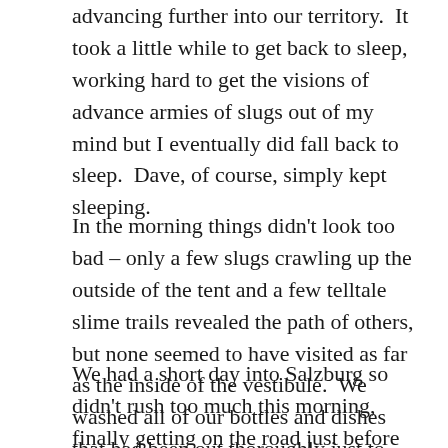advancing further into our territory.  It took a little while to get back to sleep, working hard to get the visions of advance armies of slugs out of my mind but I eventually did fall back to sleep.  Dave, of course, simply kept sleeping.
In the morning things didn't look too bad – only a few slugs crawling up the outside of the tent and a few telltale slime trails revealed the path of others, but none seemed to have visited as far as the inside of the vestibule.  We washed all of our bottles and dishes that had been out thoroughly just to make sure.
We had a short day into Salzburg so didn't rush too much this morning, finally getting on the road just before 9am.  By that time the sun was breaking through